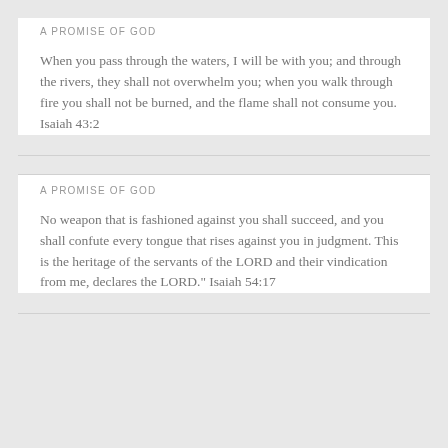A PROMISE OF GOD
When you pass through the waters, I will be with you; and through the rivers, they shall not overwhelm you; when you walk through fire you shall not be burned, and the flame shall not consume you. Isaiah 43:2
A PROMISE OF GOD
No weapon that is fashioned against you shall succeed, and you shall confute every tongue that rises against you in judgment. This is the heritage of the servants of the LORD and their vindication from me, declares the LORD." Isaiah 54:17